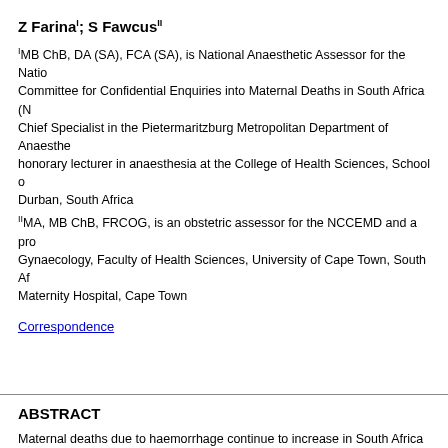Z FarinaI; S FawcusII
IMB ChB, DA (SA), FCA (SA), is National Anaesthetic Assessor for the National Committee for Confidential Enquiries into Maternal Deaths in South Africa (N... Chief Specialist in the Pietermaritzburg Metropolitan Department of Anaesthe... honorary lecturer in anaesthesia at the College of Health Sciences, School o... Durban, South Africa
IIMA, MB ChB, FRCOG, is an obstetric assessor for the NCCEMD and a prof... Gynaecology, Faculty of Health Sciences, University of Cape Town, South Af... Maternity Hospital, Cape Town
Correspondence
ABSTRACT
Maternal deaths due to haemorrhage continue to increase in South Africa (SA... not being used optimally, even though they are an essential part of managing... administered to every mother delivering in SA. Awareness is required of the s... measures to avoid harm from these. Second-line uterotonics should also be a... and surgical means to arrest haemorrhage in women who continue to bleed a...